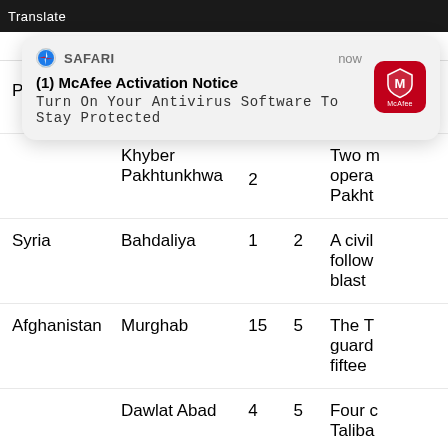[Figure (screenshot): Safari browser notification overlay showing McAfee Activation Notice: 'Turn On Your Antivirus Software To Stay Protected']
| Country | Province | Col3 | Col4 | Description |
| --- | --- | --- | --- | --- |
| Pakistan | Balochistan | 5 |  | Three person... |
|  | Khyber Pakhtunkhwa | 2 |  | Two m opera Pakht... |
| Syria | Bahdaliya | 1 | 2 | A civil follow blast... |
| Afghanistan | Murghab | 15 | 5 | The T guard fiftee... |
|  | Dawlat Abad | 4 | 5 | Four c Taliba... |